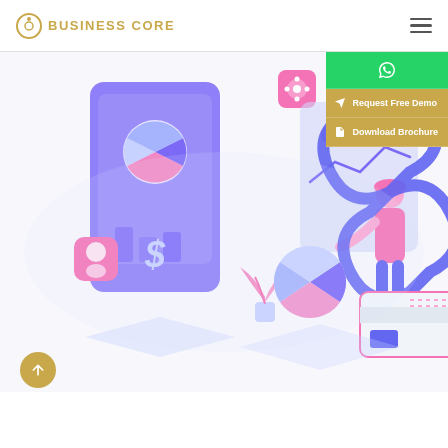BUSINESS CORE
[Figure (illustration): Isometric CRM business illustration showing a person pointing at a CRM dashboard with charts, pie charts, bar graphs, a chain link icon, currency symbols, plant decorations, and a credit card — in purple/pink/teal color scheme]
Request Free Demo
Download Brochure